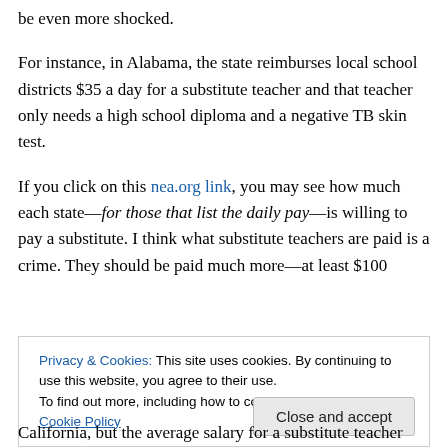be even more shocked.
For instance, in Alabama, the state reimburses local school districts $35 a day for a substitute teacher and that teacher only needs a high school diploma and a negative TB skin test.
If you click on this nea.org link, you may see how much each state—for those that list the daily pay—is willing to pay a substitute. I think what substitute teachers are paid is a crime. They should be paid much more—at least $100
Privacy & Cookies: This site uses cookies. By continuing to use this website, you agree to their use. To find out more, including how to control cookies, see here: Cookie Policy
California, but the average salary for a substitute teacher